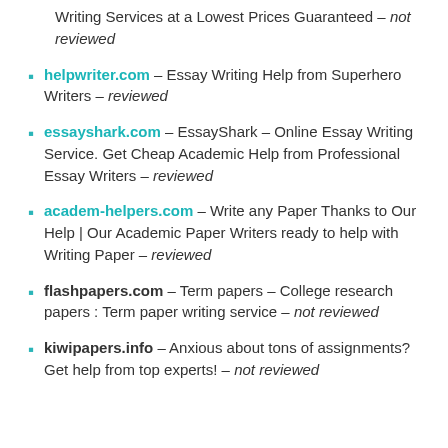Writing Services at a Lowest Prices Guaranteed – not reviewed
helpwriter.com – Essay Writing Help from Superhero Writers – reviewed
essayshark.com – EssayShark – Online Essay Writing Service. Get Cheap Academic Help from Professional Essay Writers – reviewed
academ-helpers.com – Write any Paper Thanks to Our Help | Our Academic Paper Writers ready to help with Writing Paper – reviewed
flashpapers.com – Term papers – College research papers : Term paper writing service – not reviewed
kiwipapers.info – Anxious about tons of assignments? Get help from top experts! – not reviewed